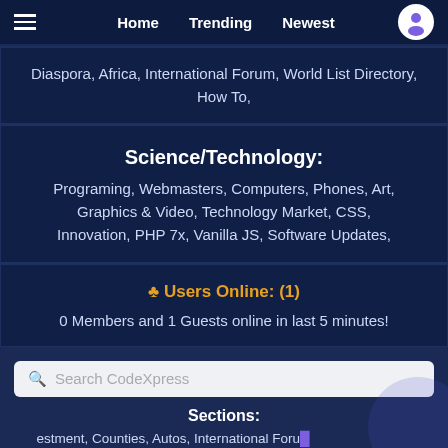Home  Trending  Newest
Diaspora, Africa, International Forum, World List Directory, How To,
Science/Technology: Programing, Webmasters, Computers, Phones, Art, Graphics & Video, Technology Market, CSS, Innovation, PHP 7x, Vanilla JS, Software Updates,
♣ Users Online: (1)
0 Members and 1 Guests online in last 5 minutes!
Search CodeXpress
Sections:
Investment, Counties, Autos, International Forum, Webmasters, PHP 7x, Vanilla JS, Art, Graphics & ...